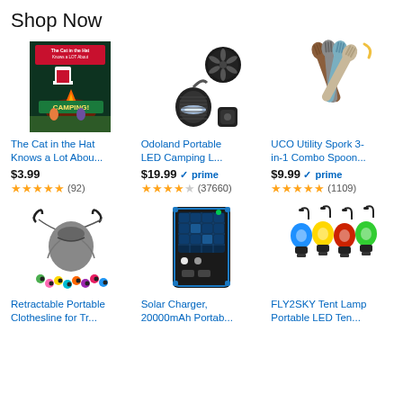Shop Now
[Figure (photo): The Cat in the Hat Knows a Lot About Camping book cover]
The Cat in the Hat Knows a Lot Abou...
$3.99
★★★★½ (92)
[Figure (photo): Odoland Portable LED Camping Lantern with fan product]
Odoland Portable LED Camping L...
$19.99 ✓prime
★★★★½ (37660)
[Figure (photo): UCO Utility Spork 3-in-1 Combo Spoon Fork Knife set]
UCO Utility Spork 3-in-1 Combo Spoon...
$9.99 ✓prime
★★★★★ (1109)
[Figure (photo): Retractable Portable Clothesline with hooks and bag]
Retractable Portable Clothesline for Tr...
[Figure (photo): Solar Charger 20000mAh portable charger with solar panel]
Solar Charger, 20000mAh Portab...
[Figure (photo): FLY2SKY Tent Lamp Portable LED Tent Light bulbs in blue yellow red green]
FLY2SKY Tent Lamp Portable LED Ten...